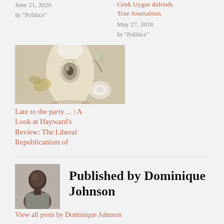June 21, 2020
In "Politics"
Cenk Uygur defends True Journalism
May 27, 2018
In "Politics"
[Figure (photo): Surrealist painting of a large pale hand/finger with an eye-like center, floral elements and soft background]
Late to the party… | A Look at Hayward's Review: The Liberal Republicanism of Gordon Wood
July 17, 2018
In "History"
Published by Dominique Johnson
[Figure (photo): Headshot of Dominique Johnson, a man in a grey shirt against a light background]
View all posts by Dominique Johnson